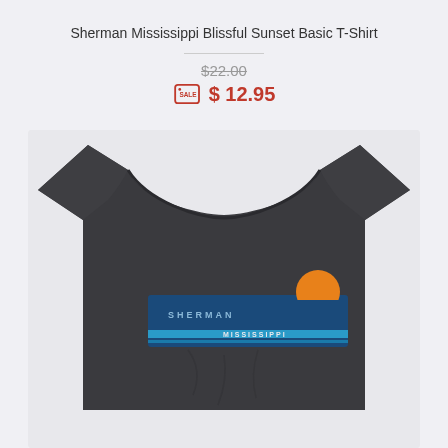Sherman Mississippi Blissful Sunset Basic T-Shirt
$22.00 (strikethrough original price)
$ 12.95 (sale price)
[Figure (photo): Dark charcoal grey t-shirt with a sunset graphic design showing SHERMAN and MISSISSIPPI text with blue horizontal stripes and an orange sun setting over water]